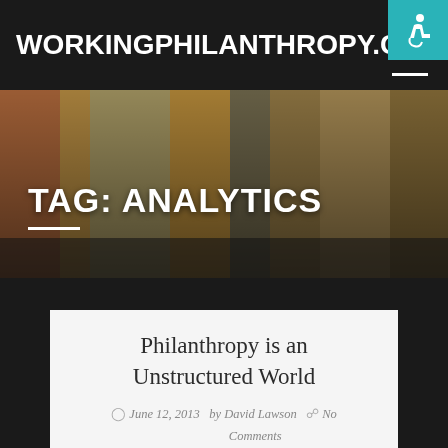WORKINGPHILANTHROPY.COM
TAG: ANALYTICS
Philanthropy is an Unstructured World
June 12, 2013  by David Lawson   No Comments
According to IBM 80% of all data is unstructured...